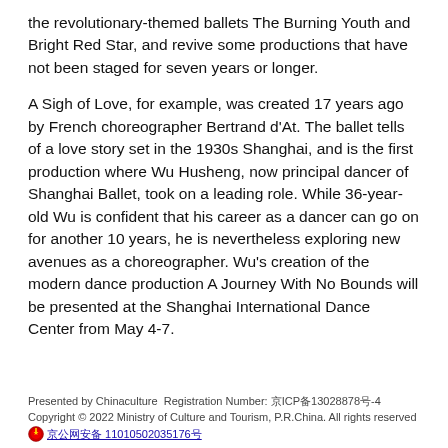the revolutionary-themed ballets The Burning Youth and Bright Red Star, and revive some productions that have not been staged for seven years or longer.
A Sigh of Love, for example, was created 17 years ago by French choreographer Bertrand d'At. The ballet tells of a love story set in the 1930s Shanghai, and is the first production where Wu Husheng, now principal dancer of Shanghai Ballet, took on a leading role. While 36-year-old Wu is confident that his career as a dancer can go on for another 10 years, he is nevertheless exploring new avenues as a choreographer. Wu's creation of the modern dance production A Journey With No Bounds will be presented at the Shanghai International Dance Center from May 4-7.
Presented by Chinaculture Registration Number: 京ICP备13028878号-4
Copyright © 2022 Ministry of Culture and Tourism, P.R.China. All rights reserved
京公网安备 11010502035176号